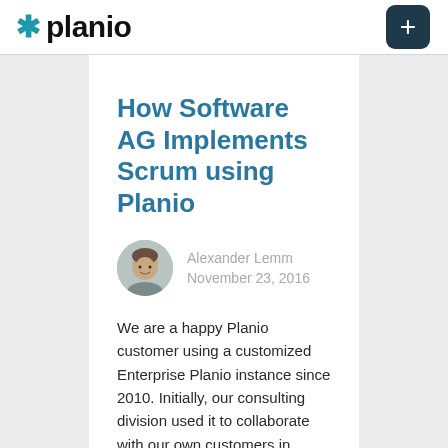planio
How Software AG Implements Scrum using Planio
Alexander Lemm
November 23, 2016
We are a happy Planio customer using a customized Enterprise Planio instance since 2010. Initially, our consulting division used it to collaborate with our own customers in projects. Soon, other departments like